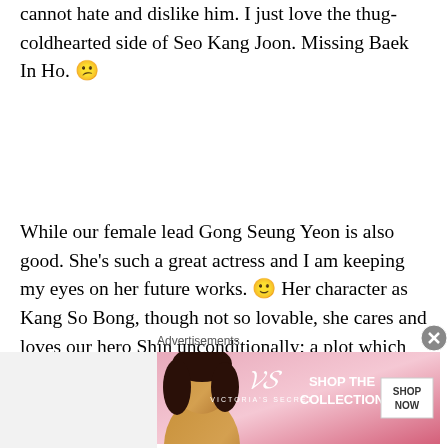cannot hate and dislike him. I just love the thug-coldhearted side of Seo Kang Joon. Missing Baek In Ho. 😕
While our female lead Gong Seung Yeon is also good. She's such a great actress and I am keeping my eyes on her future works. 🙂 Her character as Kang So Bong, though not so lovable, she cares and loves our hero Shin unconditionally; a plot which we barely witness in the Dramaland. XD
At first it was okay, but as the romance between her and Nam Shin III grew bigger, I found it uncomfortable and I don't know what else to say
Advertisements
[Figure (other): Victoria's Secret advertisement banner showing a model with curly hair on pink background with 'SHOP THE COLLECTION' text and 'SHOP NOW' button]